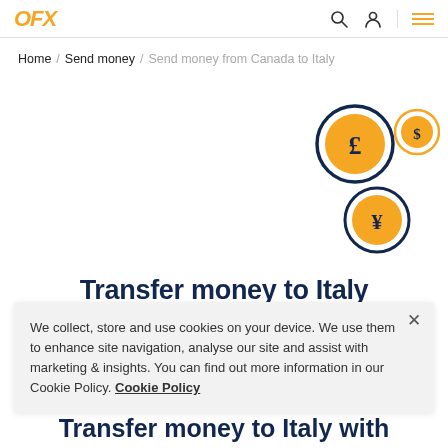OFX
Home / Send money / Send money from Canada to Italy
[Figure (illustration): Three currency coin icons with dark navy circle outlines and orange fill: a pound sterling (£) coin (large), a dollar ($) coin (small, upper right), and a yen (¥) coin (medium, lower center-right)]
Transfer money to Italy
We collect, store and use cookies on your device. We use them to enhance site navigation, analyse our site and assist with marketing & insights. You can find out more information in our Cookie Policy. Cookie Policy
Transfer money to Italy with